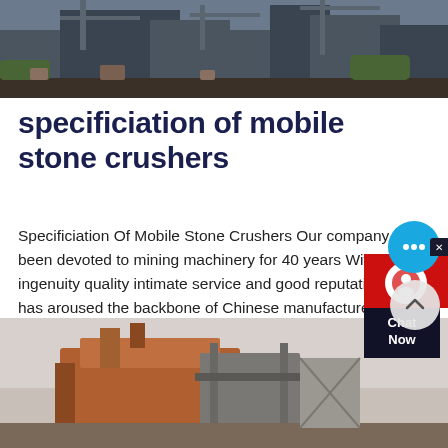[Figure (photo): Industrial mining/quarrying site with heavy machinery, cranes, and construction equipment. Dark tones with blue sky and buildings in background.]
specificiation of mobile stone crushers
Specificiation Of Mobile Stone Crushers Our company has been devoted to mining machinery for 40 years With its ingenuity quality intimate service and good reputation it has aroused the backbone of Chinese manufacture and won the praise of the global users We also choose u successful enterprise and a bright future for youPle
[Figure (photo): Mobile stone crusher machinery — rusty/orange industrial crushing equipment photographed outdoors against a grey sky.]